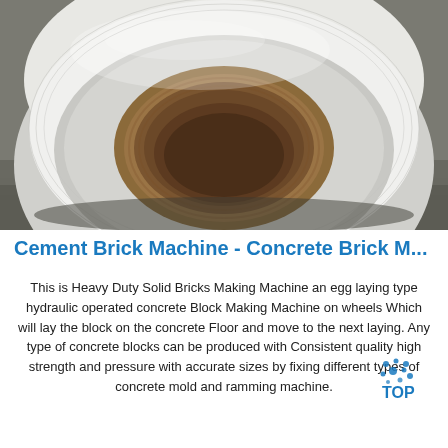[Figure (photo): A large roll of steel strip or metal coil on wooden pallets in an industrial warehouse or factory floor. The roll is white/silver with a hollow cardboard core visible, resting on yellow wooden pallet supports. The floor appears to be a concrete industrial floor.]
Cement Brick Machine - Concrete Brick M...
This is Heavy Duty Solid Bricks Making Machine an egg laying type hydraulic operated concrete Block Making Machine on wheels Which will lay the block on the concrete Floor and move to the next laying. Any type of concrete blocks can be produced with Consistent quality high strength and pressure with accurate sizes by fixing different types of concrete mold and ramming machine.